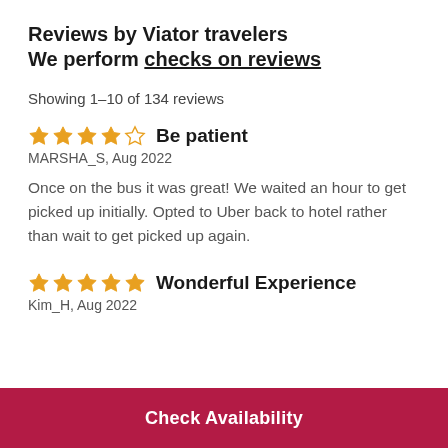Reviews by Viator travelers
We perform checks on reviews
Showing 1-10 of 134 reviews
★★★★☆ Be patient
MARSHA_S, Aug 2022
Once on the bus it was great! We waited an hour to get picked up initially. Opted to Uber back to hotel rather than wait to get picked up again.
★★★★★ Wonderful Experience
Kim_H, Aug 2022
Check Availability